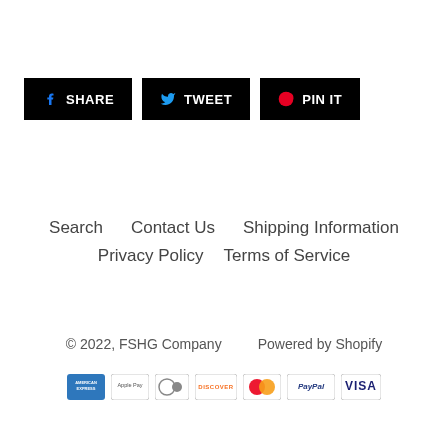[Figure (other): Social share buttons: SHARE (Facebook), TWEET (Twitter), PIN IT (Pinterest)]
Search   Contact Us   Shipping Information
Privacy Policy   Terms of Service
© 2022, FSHG Company      Powered by Shopify
[Figure (other): Payment icons: American Express, Apple Pay, Diners Club, Discover, Mastercard, PayPal, Visa]